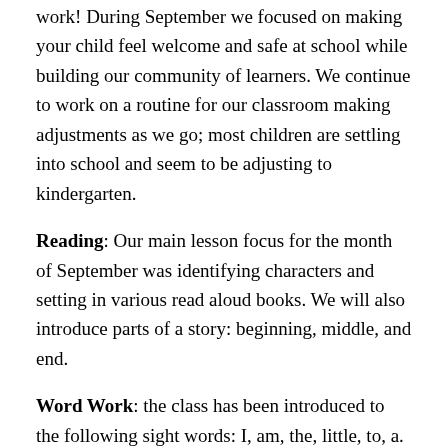work! During September we focused on making your child feel welcome and safe at school while building our community of learners. We continue to work on a routine for our classroom making adjustments as we go; most children are settling into school and seem to be adjusting to kindergarten.
Reading: Our main lesson focus for the month of September was identifying characters and setting in various read aloud books. We will also introduce parts of a story: beginning, middle, and end.
Word Work: the class has been introduced to the following sight words: I, am, the, little, to, a. Please review these words with your child when reading at home. The easier your child can identify these words the easier reading independently will be for them. We are focusing on the